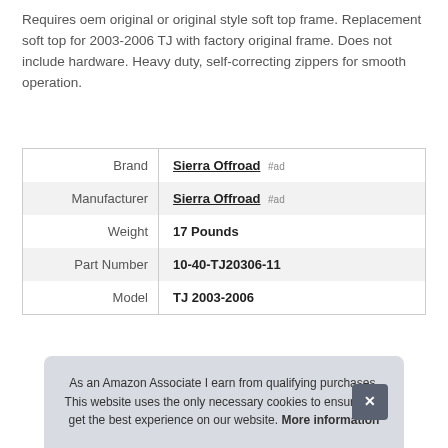Requires oem original or original style soft top frame. Replacement soft top for 2003-2006 TJ with factory original frame. Does not include hardware. Heavy duty, self-correcting zippers for smooth operation.
|  |  |
| --- | --- |
| Brand | Sierra Offroad #ad |
| Manufacturer | Sierra Offroad #ad |
| Weight | 17 Pounds |
| Part Number | 10-40-TJ20306-11 |
| Model | TJ 2003-2006 |
As an Amazon Associate I earn from qualifying purchases. This website uses the only necessary cookies to ensure you get the best experience on our website. More information